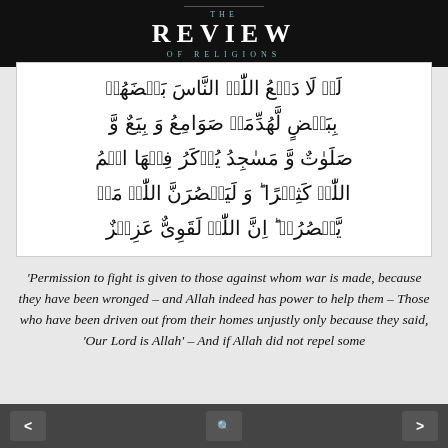THE REVIEW OF RELIGIONS
[Figure (other): Arabic Quranic text in a white bordered box]
'Permission to fight is given to those against whom war is made, because they have been wronged – and Allah indeed has power to help them – Those who have been driven out from their homes unjustly only because they said, 'Our Lord is Allah' – And if Allah did not repel some
< [search icon] >